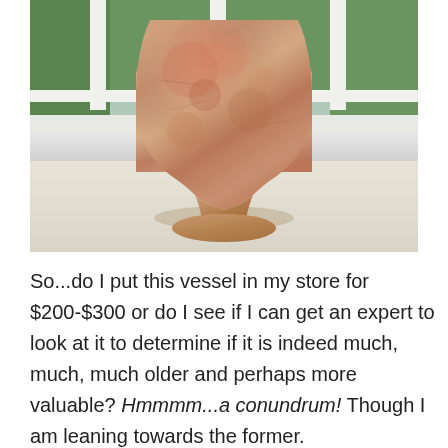[Figure (photo): A photograph of an ancient-looking alabaster or stone vessel/vase with a wide body and a pedestal base, sitting on a white surface in front of a window with greenery visible outside. The vessel has mottled pink, orange, and tan coloration with visible wear and age marks.]
So...do I put this vessel in my store for $200-$300 or do I see if I can get an expert to look at it to determine if it is indeed much, much, much older and perhaps more valuable? Hmmmm...a conundrum! Though I am leaning towards the former.